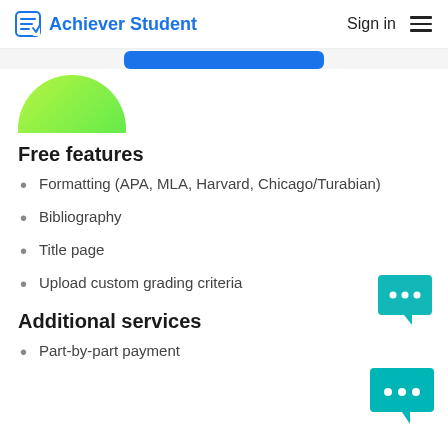Achiever Student  Sign in
[Figure (illustration): Bottom half of a webpage showing a blue button stub at top, a green semi-circle decorative shape, and a chat bubble icon at bottom right]
Free features
Formatting (APA, MLA, Harvard, Chicago/Turabian)
Bibliography
Title page
Upload custom grading criteria
Additional services
Part-by-part payment